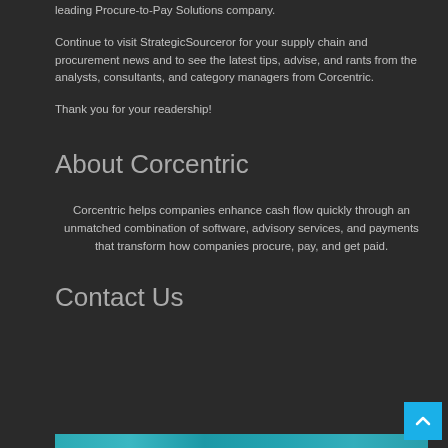leading Procure-to-Pay Solutions company.
Continue to visit StrategicSourceror for your supply chain and procurement news and to see the latest tips, advise, and rants from the analysts, consultants, and category managers from Corcentric.
Thank you for your readership!
About Corcentric
Corcentric helps companies enhance cash flow quickly through an unmatched combination of software, advisory services, and payments that transform how companies procure, pay, and get paid.
Contact Us
[Figure (photo): Partial image strip at the bottom of the page, appears to be a teal/cyan colored photo]
[Figure (other): Blue scroll-to-top button with upward arrow chevron in bottom right corner]